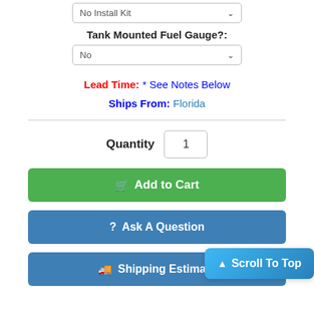[Figure (screenshot): Dropdown selector showing 'No Install Kit' with chevron arrow]
Tank Mounted Fuel Gauge?:
[Figure (screenshot): Dropdown selector showing 'No' with chevron arrow]
Lead Time:  * See Notes Below
Ships From: Florida
Quantity  1
Add to Cart
? Ask A Question
Scroll To Top
Shipping Estimate